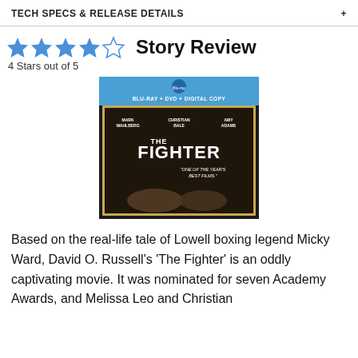TECH SPECS & RELEASE DETAILS
Story Review
4 Stars out of 5
[Figure (photo): DVD/Blu-ray cover of 'The Fighter' featuring Mark Wahlberg, Christian Bale, and Amy Adams. Blu-Ray + DVD + Digital Copy edition.]
Based on the real-life tale of Lowell boxing legend Micky Ward, David O. Russell's 'The Fighter' is an oddly captivating movie. It was nominated for seven Academy Awards, and Melissa Leo and Christian